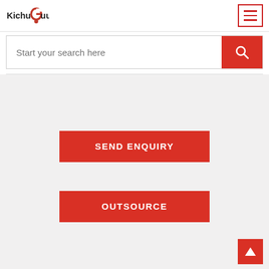[Figure (logo): KichuGuu logo with stylized 'g' in red/coral color and black text]
[Figure (other): Hamburger menu button with three red horizontal lines inside a red-bordered square]
Start your search here
SEND ENQUIRY
OUTSOURCE
[Figure (other): Back to top button with upward triangle arrow on red background]